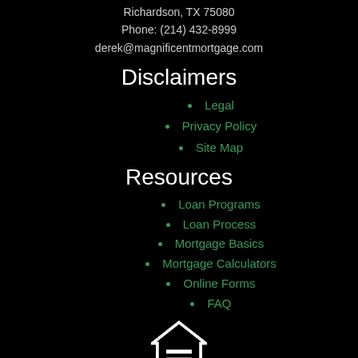Richardson, TX 75080
Phone: (214) 432-8999
derek@magnificentmortgage.com
Disclaimers
Legal
Privacy Policy
Site Map
Resources
Loan Programs
Loan Process
Mortgage Basics
Mortgage Calculators
Online Forms
FAQ
[Figure (logo): Equal Housing Lender logo with house icon]
Powered By LenderHomePage.com